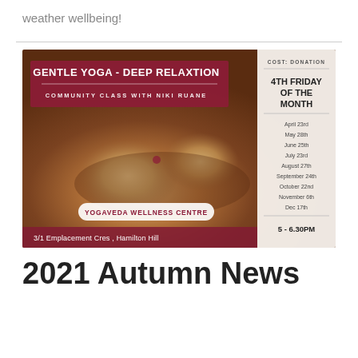weather wellbeing!
[Figure (infographic): Yoga class flyer with sandy hands image background. Title: GENTLE YOGA - DEEP RELAXTION. Community class with Niki Ruane. Location: Yogaveda Wellness Centre, 3/1 Emplacement Cres, Hamilton Hill. Cost: Donation. Schedule: 4th Friday of the month. Dates listed: April 23rd, May 28th, June 25th, July 23rd, August 27th, September 24th, October 22nd, November 6th, Dec 17th. Time: 5 - 6.30PM]
2021 Autumn News